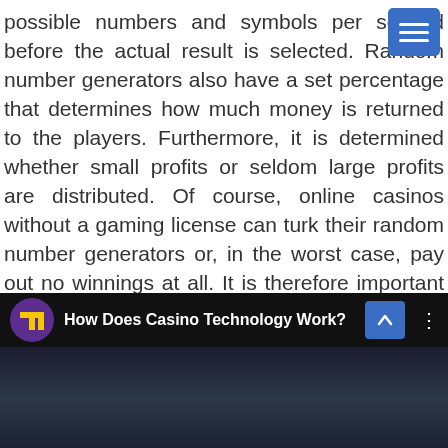possible numbers and symbols per second before the actual result is selected. Random number generators also have a set percentage that determines how much money is returned to the players. Furthermore, it is determined whether small profits or seldom large profits are distributed. Of course, online casinos without a gaming license can turk their random number generators or, in the worst case, pay out no winnings at all. It is therefore important that an online casino can present a license and is therefore under official control, as this is the only way to guarantee the use of random number generators.
[Figure (other): Video embed strip with logo icon (purple circle with yellow arrow), title 'How Does Casino Technology Work?', a blue scroll-to-top button with upward chevron, and three-dots menu icon. Below is a dark video thumbnail showing what appears to be a casino table.]